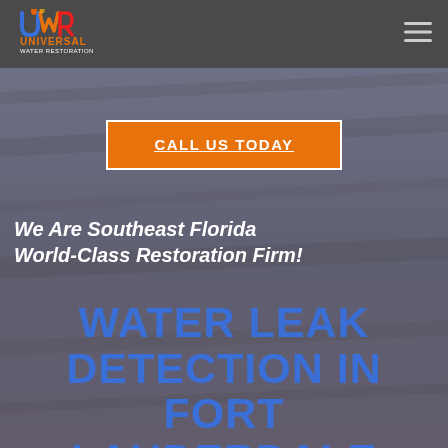[Figure (logo): Universal Water Restoration logo with UWR letters and colorful flame/water graphic above company name]
[Figure (other): Hamburger menu icon (three horizontal lines) in top right corner]
[Figure (photo): Hero background image showing water-damaged wood/flooring with gray-blue overlay]
CALL US TODAY
We Are Southeast Florida World-Class Restoration Firm!
WATER LEAK DETECTION IN FORT LAUDERDALE